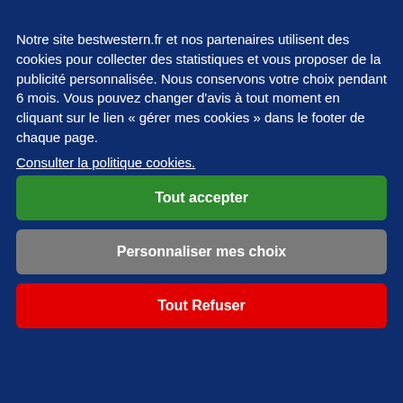Notre site bestwestern.fr et nos partenaires utilisent des cookies pour collecter des statistiques et vous proposer de la publicité personnalisée. Nous conservons votre choix pendant 6 mois. Vous pouvez changer d'avis à tout moment en cliquant sur le lien « gérer mes cookies » dans le footer de chaque page.
Consulter la politique cookies.
[Figure (screenshot): Cookie consent dialog with three buttons: 'Tout accepter' (green), 'Personnaliser mes choix' (gray), 'Tout Refuser' (red) on a dark blue background]